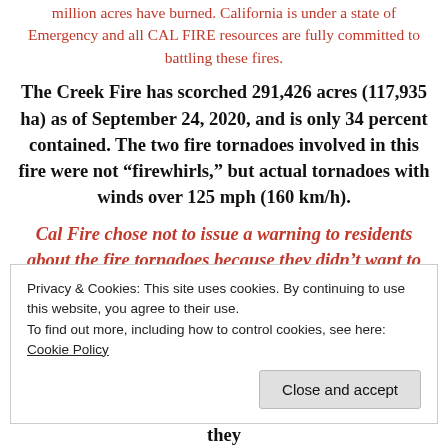million acres have burned. California is under a state of Emergency and all CAL FIRE resources are fully committed to battling these fires.
The Creek Fire has scorched 291,426 acres (117,935 ha) as of September 24, 2020, and is only 34 percent contained. The two fire tornadoes involved in this fire were not “firewhirls,” but actual tornadoes with winds over 125 mph (160 km/h).
Cal Fire chose not to issue a warning to residents about the fire tornadoes because they didn’t want to
Privacy & Cookies: This site uses cookies. By continuing to use this website, you agree to their use.
To find out more, including how to control cookies, see here: Cookie Policy
“abortionist” baby killers, killing them even after they